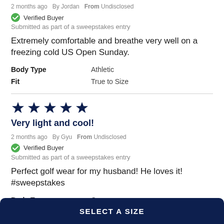2 months ago  By Jordan  From Undisclosed
Verified Buyer
Submitted as part of a sweepstakes entry
Extremely comfortable and breathe very well on a freezing cold US Open Sunday.
Body Type    Athletic
Fit    True to Size
[Figure (other): 5 filled dark blue star rating icons]
Very light and cool!
2 months ago  By Gyu  From Undisclosed
Verified Buyer
Submitted as part of a sweepstakes entry
Perfect golf wear for my husband! He loves it! #sweepstakes
Body Type    Curvy
SELECT A SIZE